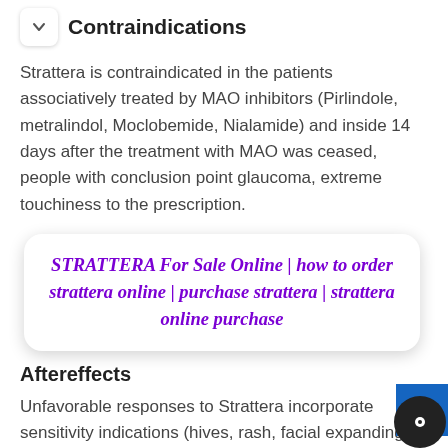Contraindications
Strattera is contraindicated in the patients associatively treated by MAO inhibitors (Pirlindole, metralindol, Moclobemide, Nialamide) and inside 14 days after the treatment with MAO was ceased, people with conclusion point glaucoma, extreme touchiness to the prescription.
[Figure (other): Promotional advertisement box with purple bold italic text: STRATTERA For Sale Online | how to order strattera online | purchase strattera | strattera online purchase]
Aftereffects
Unfavorable responses to Strattera incorporate sensitivity indications (hives, rash, facial expanding, edema), dry mouth